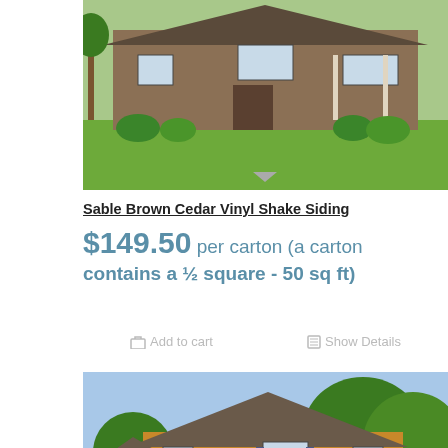[Figure (photo): Photo of a house with brown siding and green lawn, top portion visible with a downward arrow below it]
Sable Brown Cedar Vinyl Shake Siding
$149.50 per carton (a carton contains a ½ square - 50 sq ft)
Add to cart   Show Details
[Figure (photo): Photo of a two-story house with golden/yellow vinyl siding, surrounded by trees]